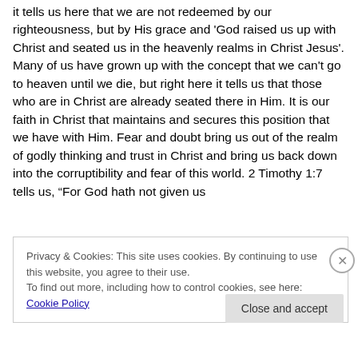it tells us here that we are not redeemed by our righteousness, but by His grace and 'God raised us up with Christ and seated us in the heavenly realms in Christ Jesus'. Many of us have grown up with the concept that we can't go to heaven until we die, but right here it tells us that those who are in Christ are already seated there in Him. It is our faith in Christ that maintains and secures this position that we have with Him. Fear and doubt bring us out of the realm of godly thinking and trust in Christ and bring us back down into the corruptibility and fear of this world. 2 Timothy 1:7 tells us, “For God hath not given us
Privacy & Cookies: This site uses cookies. By continuing to use this website, you agree to their use.
To find out more, including how to control cookies, see here: Cookie Policy